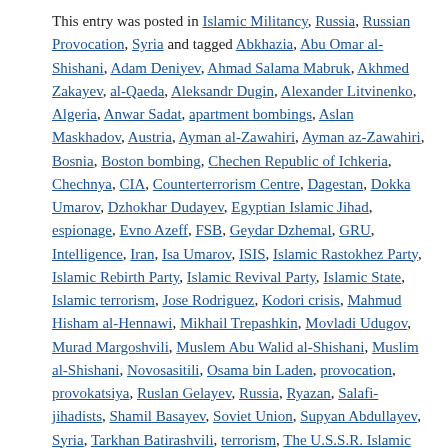This entry was posted in Islamic Militancy, Russia, Russian Provocation, Syria and tagged Abkhazia, Abu Omar al-Shishani, Adam Deniyev, Ahmad Salama Mabruk, Akhmed Zakayev, al-Qaeda, Aleksandr Dugin, Alexander Litvinenko, Algeria, Anwar Sadat, apartment bombings, Aslan Maskhadov, Austria, Ayman al-Zawahiri, Ayman az-Zawahiri, Bosnia, Boston bombing, Chechen Republic of Ichkeria, Chechnya, CIA, Counterterrorism Centre, Dagestan, Dokka Umarov, Dzhokhar Dudayev, Egyptian Islamic Jihad, espionage, Evno Azeff, FSB, Geydar Dzhemal, GRU, Intelligence, Iran, Isa Umarov, ISIS, Islamic Rastokhez Party, Islamic Rebirth Party, Islamic Revival Party, Islamic State, Islamic terrorism, Jose Rodriguez, Kodori crisis, Mahmud Hisham al-Hennawi, Mikhail Trepashkin, Movladi Udugov, Murad Margoshvili, Muslem Abu Walid al-Shishani, Muslim al-Shishani, Novosasitili, Osama bin Laden, provocation, provokatsiya, Ruslan Gelayev, Russia, Ryazan, Salafi-jihadists, Shamil Basayev, Soviet Union, Supyan Abdullayev, Syria, Tarkhan Batirashvili, terrorism, The U.S.S.R. Islamic Revival Party, Tsarnaev brothers, Vladimir Putin, Vladimir Romanovich, Yasser Arafat on September 8, 2015.